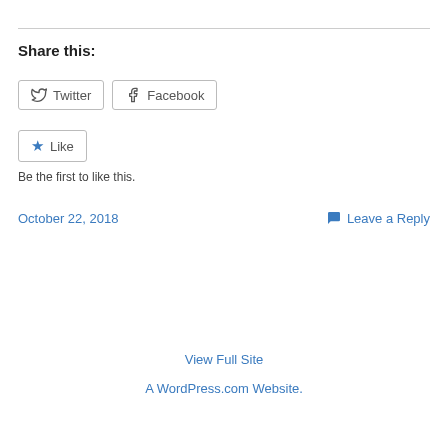Share this:
Twitter  Facebook
Like
Be the first to like this.
October 22, 2018
Leave a Reply
View Full Site
A WordPress.com Website.